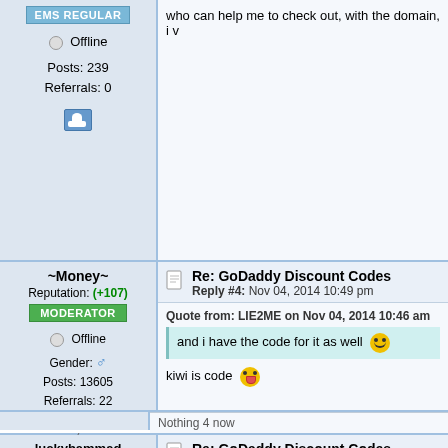EMS REGULAR
Offline
Posts: 239
Referrals: 0
who can help me to check out, with the domain, i v
~Money~
Reputation: (+107)
MODERATOR
Offline
Gender: Male
Posts: 13605
Referrals: 22
No Love Only Internet & Crypto :(
Re: GoDaddy Discount Codes
Reply #4: Nov 04, 2014 10:49 pm
Quote from: LIE2ME on Nov 04, 2014 10:46 am
and i have the code for it as well
kiwi is code
Nothing 4 now
luckyhammad
Re: GoDaddy Discount Codes